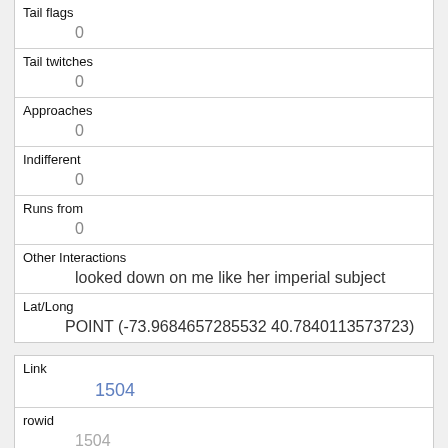| Field | Value |
| --- | --- |
| Tail flags | 0 |
| Tail twitches | 0 |
| Approaches | 0 |
| Indifferent | 0 |
| Runs from | 0 |
| Other Interactions | looked down on me like her imperial subject |
| Lat/Long | POINT (-73.9684657285532 40.7840113573723) |
| Field | Value |
| --- | --- |
| Link | 1504 |
| rowid | 1504 |
| longitude |  |